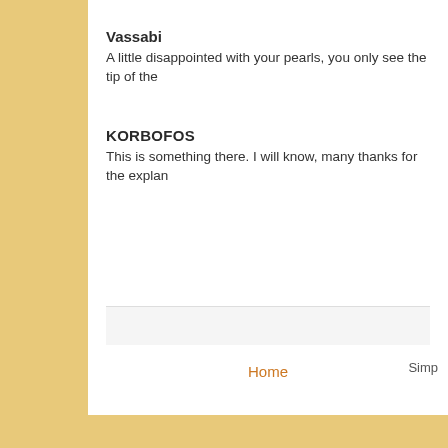Vassabi
A little disappointed with your pearls, you only see the tip of the
KORBOFOS
This is something there. I will know, many thanks for the explan
Home
Simp